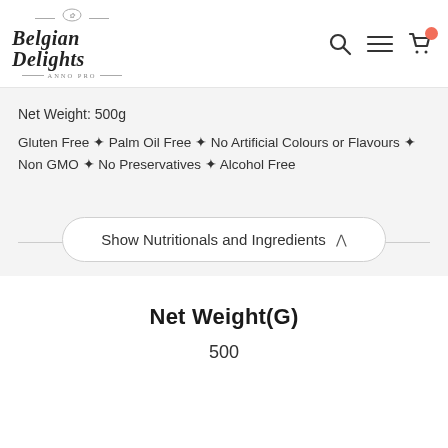[Figure (logo): Belgian Delights logo with ornamental script text, decorative swirls, and ANNO PRO subtitle]
Net Weight: 500g
Gluten Free ✦ Palm Oil Free ✦ No Artificial Colours or Flavours ✦ Non GMO ✦ No Preservatives ✦ Alcohol Free
Show Nutritionals and Ingredients ∧
Net Weight(G)
500